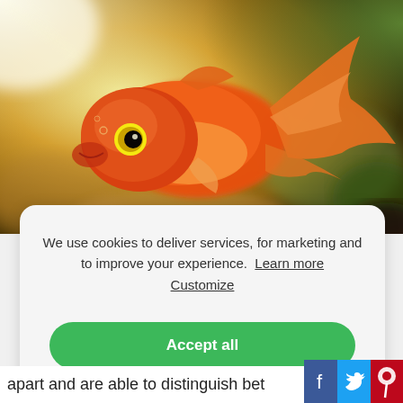[Figure (photo): Close-up photo of an orange goldfish swimming, with blurred aquatic background of yellows, greens, and browns.]
We use cookies to deliver services, for marketing and to improve your experience. Learn more Customize
Accept all
apart and are able to distinguish bet